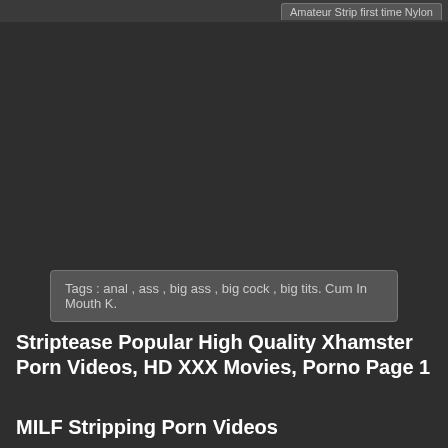Amateur Strip first time Nylon
[Figure (other): Dark video player area, mostly black/dark gray background representing a video embed or player]
Tags : anal , ass , big ass , big cock , big tits. Cum In Mouth K.
Striptease Popular High Quality Xhamster Porn Videos, HD XXX Movies, Porno Page 1
MILF Stripping Porn Videos